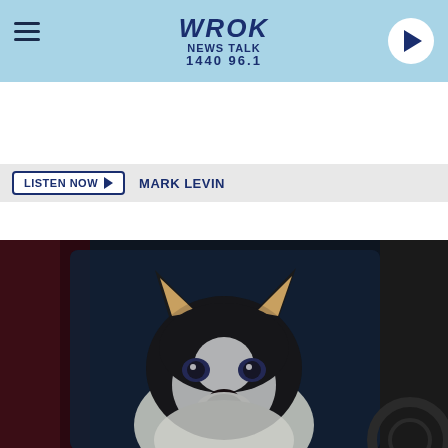WROK NEWS TALK 1440 96.1
LISTEN NOW ▶   MARK LEVIN
[Figure (photo): A husky dog looking through the window of a parked car, with a red car door frame visible. Photo credited to Getty Images.]
WISCONSIN 'GOOD SAMARITAN LAW' FOR RESCUING TRAPPED